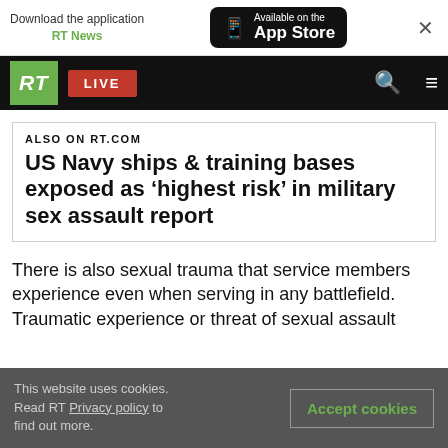Download the application RT News | Available on the App Store
[Figure (screenshot): RT website navigation bar with RT logo, LIVE button, search icon, and menu icon]
ALSO ON RT.COM
US Navy ships & training bases exposed as ‘highest risk’ in military sex assault report
There is also sexual trauma that service members experience even when serving in any battlefield. Traumatic experience or threat of sexual assault
This website uses cookies. Read RT Privacy policy to find out more. | Accept cookies